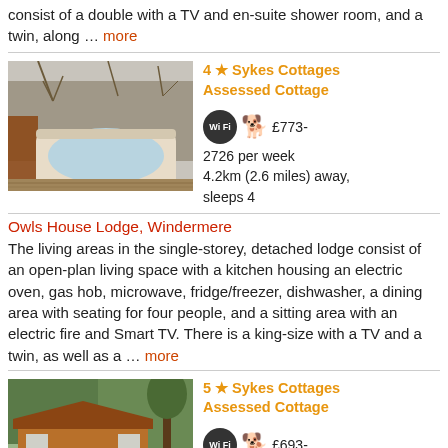consist of a double with a TV and en-suite shower room, and a twin, along … more
[Figure (photo): Outdoor hot tub on a wooden deck surrounded by bare winter trees]
4 ★ Sykes Cottages Assessed Cottage
WiFi, pet-friendly
£773-2726 per week
4.2km (2.6 miles) away, sleeps 4
Owls House Lodge, Windermere
The living areas in the single-storey, detached lodge consist of an open-plan living space with a kitchen housing an electric oven, gas hob, microwave, fridge/freezer, dishwasher, a dining area with seating for four people, and a sitting area with an electric fire and Smart TV. There is a king-size with a TV and a twin, as well as a … more
[Figure (photo): Wooden lodge cabin with large trees behind it in a car park setting]
5 ★ Sykes Cottages Assessed Cottage
WiFi, pet-friendly
£693-3829 per week
4.2km (2.6 miles) away,